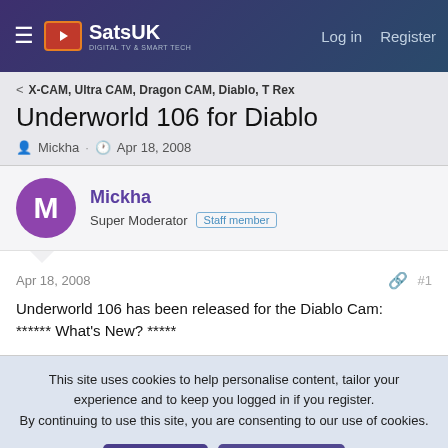SatsUK — Log in  Register
< X-CAM, Ultra CAM, Dragon CAM, Diablo, T Rex
Underworld 106 for Diablo
Mickha · Apr 18, 2008
Mickha
Super Moderator  Staff member
Apr 18, 2008  #1
Underworld 106 has been released for the Diablo Cam:
****** What's New? *****
This site uses cookies to help personalise content, tailor your experience and to keep you logged in if you register.
By continuing to use this site, you are consenting to our use of cookies.
Accept   Learn more...